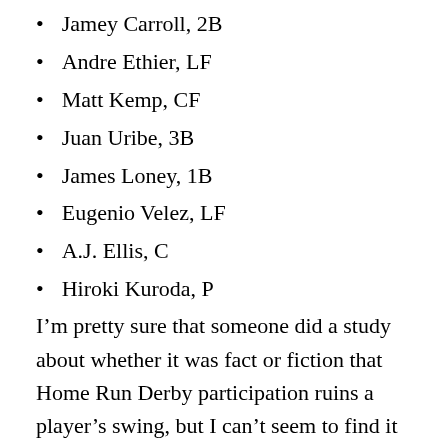Jamey Carroll, 2B
Andre Ethier, LF
Matt Kemp, CF
Juan Uribe, 3B
James Loney, 1B
Eugenio Velez, LF
A.J. Ellis, C
Hiroki Kuroda, P
I’m pretty sure that someone did a study about whether it was fact or fiction that Home Run Derby participation ruins a player’s swing, but I can’t seem to find it right now.  So instead, here’s what Two Guys From ESPN, Nomar Garciaparra and John Kruk, had to say on the